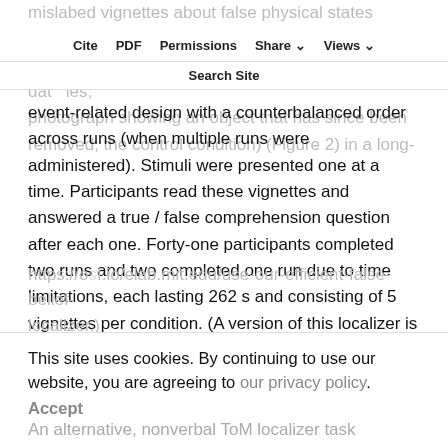mislabed vignettes about false physical states (physical representation depictions, data movies, or a photograph showing an object that has since been removed; the control condition) (Figure 2) in a long-
Cite  PDF  Permissions  Share  Views  Search Site
event-related design with a counterbalanced order across runs (when multiple runs were administered). Stimuli were presented one at a time. Participants read these vignettes and answered a true / false comprehension question after each one. Forty-one participants completed two runs and two completed one run due to time limitations, each lasting 262 s and consisting of 5 vignettes per condition. (A version of this localizer is available from
https://osf.io/elab.mit.edu/use-our-efficient-false-belief-localizer.)
This site uses cookies. By continuing to use our website, you are agreeing to our privacy policy. Accept
An alternative, nonverbal ToM localizer task